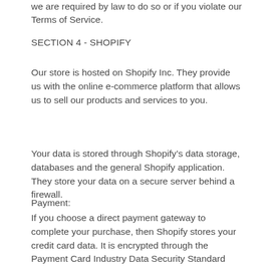we are required by law to do so or if you violate our Terms of Service.
SECTION 4 - SHOPIFY
Our store is hosted on Shopify Inc. They provide us with the online e-commerce platform that allows us to sell our products and services to you.
Your data is stored through Shopify’s data storage, databases and the general Shopify application. They store your data on a secure server behind a firewall.
Payment:
If you choose a direct payment gateway to complete your purchase, then Shopify stores your credit card data. It is encrypted through the Payment Card Industry Data Security Standard (PCI-DSS). Your purchase transaction data is stored only as long as is